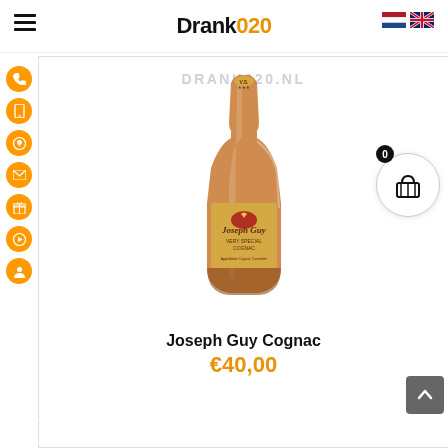Drank020
[Figure (photo): A bottle of Joseph Guy Cognac VS with a gold label, amber colored brandy bottle with rounded body]
Joseph Guy Cognac
€40,00